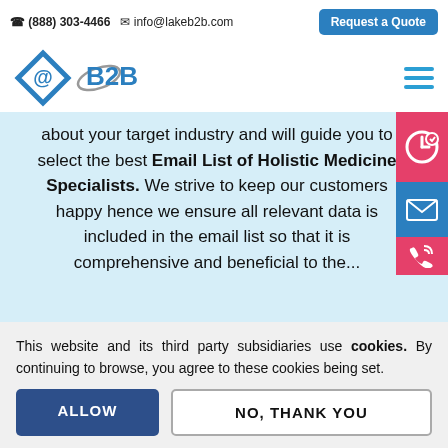(888) 303-4466  info@lakeb2b.com  Request a Quote
[Figure (logo): LakeB2B logo with diamond @B2B symbol]
about your target industry and will guide you to select the best Email List of Holistic Medicine Specialists. We strive to keep our customers happy hence we ensure all relevant data is included in the email list so that it is comprehensive and beneficial to the...
This website and its third party subsidiaries use cookies. By continuing to browse, you agree to these cookies being set.
ALLOW
NO, THANK YOU